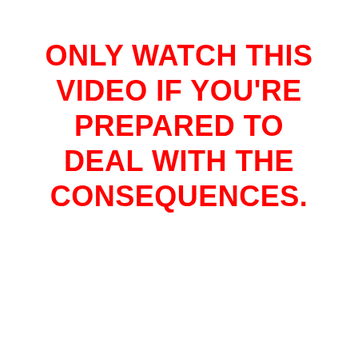ONLY WATCH THIS VIDEO IF YOU'RE PREPARED TO DEAL WITH THE CONSEQUENCES.